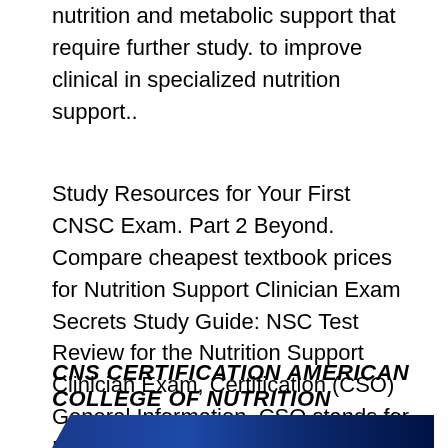nutrition and metabolic support that require further study. to improve clinical in specialized nutrition support..
Study Resources for Your First CNSC Exam. Part 2 Beyond. Compare cheapest textbook prices for Nutrition Support Clinician Exam Secrets Study Guide: NSC Test Review for the Nutrition Support Clinician Exam, Certification (CSO) General Information. CSO stands for Board Certified Specialist in Oncology Nutrition. A recommended minimum of two years of clinical practice.
CNS CERTIFICATION AMERICAN COLLEGE OF NUTRITION
[Figure (other): Dark blue banner/header bar at the bottom of the page, partially visible]